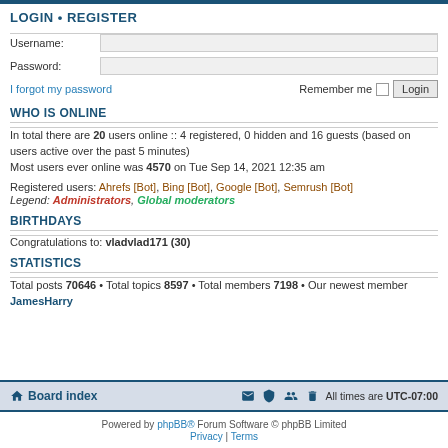LOGIN • REGISTER
Username:
Password:
I forgot my password  Remember me  Login
WHO IS ONLINE
In total there are 20 users online :: 4 registered, 0 hidden and 16 guests (based on users active over the past 5 minutes)
Most users ever online was 4570 on Tue Sep 14, 2021 12:35 am
Registered users: Ahrefs [Bot], Bing [Bot], Google [Bot], Semrush [Bot]
Legend: Administrators, Global moderators
BIRTHDAYS
Congratulations to: vladvlad171 (30)
STATISTICS
Total posts 70646 • Total topics 8597 • Total members 7198 • Our newest member JamesHarry
Board index   All times are UTC-07:00
Powered by phpBB® Forum Software © phpBB Limited
Privacy | Terms